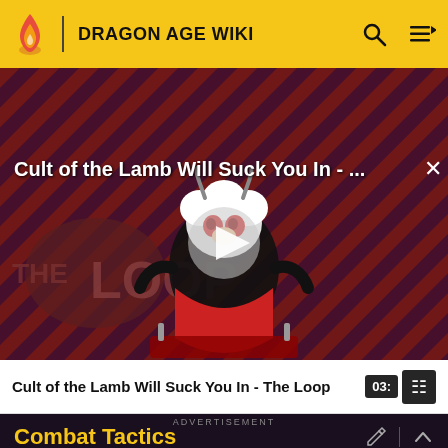DRAGON AGE WIKI
[Figure (screenshot): Video thumbnail for 'Cult of the Lamb Will Suck You In - The Loop' featuring a cartoon lamb character on a red background with diagonal stripe pattern, THE LOOP logo visible, and a play button in the center. White text overlay reads 'Cult of the Lamb Will Suck You In - ...' with an X close button.]
Cult of the Lamb Will Suck You In - The Loop
03:
ADVERTISEMENT
Combat Tactics